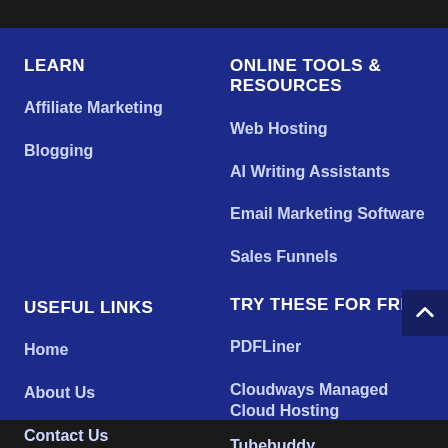LEARN
Affiliate Marketing
Blogging
ONLINE TOOLS & RESOURCES
Web Hosting
AI Writing Assistants
Email Marketing Software
Sales Funnels
USEFUL LINKS
Home
About Us
Contact Us
TRY THESE FOR FREE
PDFLiner
Cloudways Managed Cloud Hosting
Tubebuddy